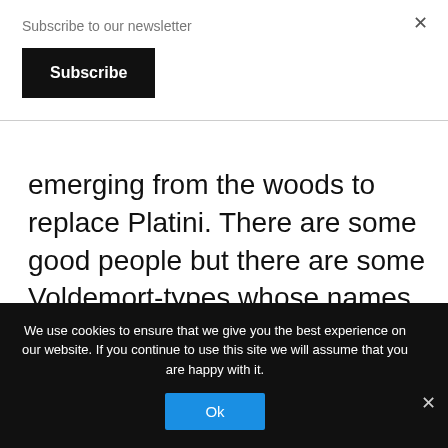Subscribe to our newsletter
Subscribe
×
emerging from the woods to replace Platini. There are some good people but there are some Voldemort-types whose names are being bandied about who could take European Football down some
We use cookies to ensure that we give you the best experience on our website. If you continue to use this site we will assume that you are happy with it.
Ok
×